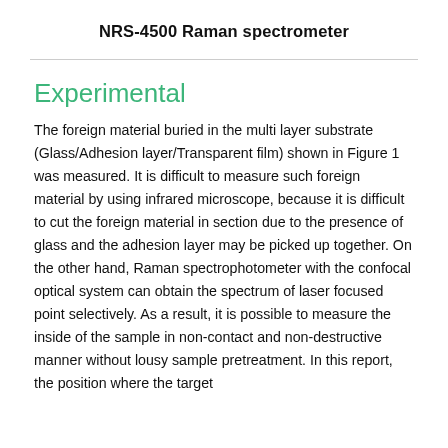NRS-4500 Raman spectrometer
Experimental
The foreign material buried in the multi layer substrate (Glass/Adhesion layer/Transparent film) shown in Figure 1 was measured. It is difficult to measure such foreign material by using infrared microscope, because it is difficult to cut the foreign material in section due to the presence of glass and the adhesion layer may be picked up together. On the other hand, Raman spectrophotometer with the confocal optical system can obtain the spectrum of laser focused point selectively. As a result, it is possible to measure the inside of the sample in non-contact and non-destructive manner without lousy sample pretreatment. In this report, the position where the target